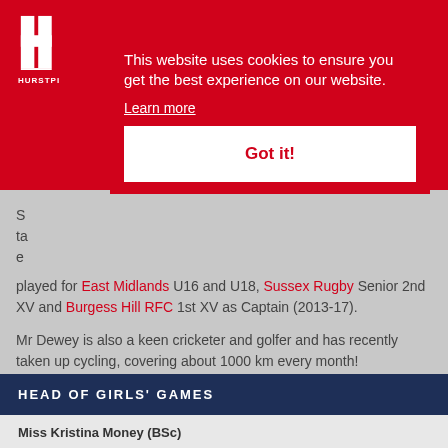HURSTPI
This website uses cookies to ensure you get the best experience on our website. Learn more
Got it!
played for East Midlands U16 and U18, Sussex Rugby Senior 2nd XV and Burgess Hill RFC 1st XV as Captain (2013-17).
Mr Dewey is also a keen cricketer and golfer and has recently taken up cycling, covering about 1000 km every month!
HEAD OF GIRLS' GAMES
Miss Kristina Money (BSc)